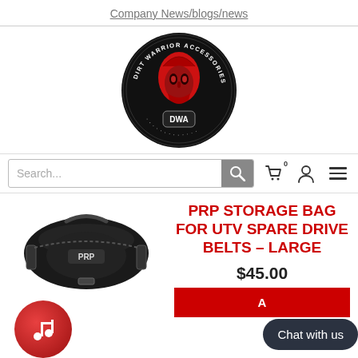Company News/blogs/news
[Figure (logo): Dirt Warrior Accessories logo — red spartan helmet on black oval background with text around the edge reading DIRT WARRIOR ACCESSORIES and DWA at the bottom]
[Figure (screenshot): Search bar with magnifying glass icon, shopping cart icon with 0 badge, user account icon, and hamburger menu icon]
[Figure (photo): Black PRP storage bag for UTV spare drive belts, large size, cylindrical duffel style with straps and PRP logo]
PRP STORAGE BAG FOR UTV SPARE DRIVE BELTS – LARGE
$45.00
[Figure (illustration): Red circular music note icon bubble]
[Figure (other): Dark Chat with us button overlay]